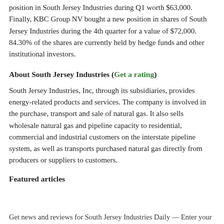position in South Jersey Industries during Q1 worth $63,000. Finally, KBC Group NV bought a new position in shares of South Jersey Industries during the 4th quarter for a value of $72,000. 84.30% of the shares are currently held by hedge funds and other institutional investors.
About South Jersey Industries (Get a rating)
South Jersey Industries, Inc, through its subsidiaries, provides energy-related products and services. The company is involved in the purchase, transport and sale of natural gas. It also sells wholesale natural gas and pipeline capacity to residential, commercial and industrial customers on the interstate pipeline system, as well as transports purchased natural gas directly from producers or suppliers to customers.
Featured articles
Get news and reviews for South Jersey Industries Daily — Enter your